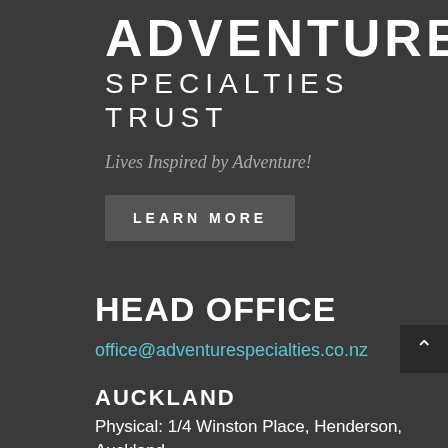ADVENTURE SPECIALTIES TRUST
Lives Inspired by Adventure!
LEARN MORE
HEAD OFFICE
office@adventurespecialties.co.nz
AUCKLAND
Physical: 1/4 Winston Place, Henderson, Auckland 0610